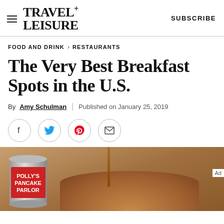TRAVEL+ LEISURE   SUBSCRIBE
FOOD AND DRINK > RESTAURANTS
The Very Best Breakfast Spots in the U.S.
By Amy Schulman | Published on January 25, 2019
[Figure (other): Social sharing icons: Facebook, Twitter, Pinterest, Email — each in a circle]
[Figure (photo): Photo showing Polly's Pancake Parlor can and pancakes with syrup drizzling down, warm wood-toned background]